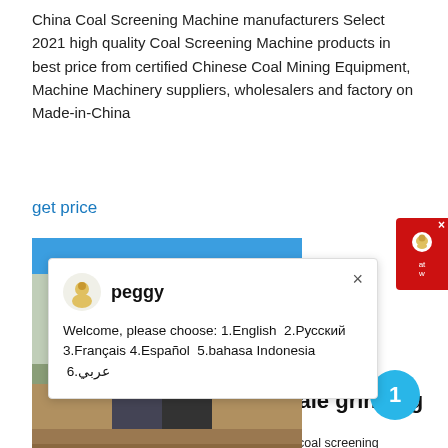China Coal Screening Machine manufacturers Select 2021 high quality Coal Screening Machine products in best price from certified Chinese Coal Mining Equipment, Machine Machinery suppliers, wholesalers and factory on Made-in-China
get price
[Figure (screenshot): Chat popup with avatar named peggy, welcome message with language options. Blue bar and product image of coal screening plant in background. Red chat button top-right. Blue circle badge with number 1.]
coal screening plant for sale grinding mill china
coal screening plant for sale grinding mill china. coal screening